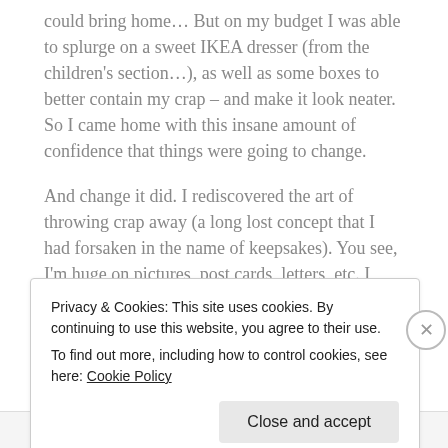could bring home… But on my budget I was able to splurge on a sweet IKEA dresser (from the children's section…), as well as some boxes to better contain my crap – and make it look neater.  So I came home with this insane amount of confidence that things were going to change.
And change it did. I rediscovered the art of throwing crap away (a long lost concept that I had forsaken in the name of keepsakes). You see, I'm huge on pictures, post cards, letters, etc. I love that stuff. It fuels my happy feels. So I have a tendency to keep EVERYTHING. Then my brother
Privacy & Cookies: This site uses cookies. By continuing to use this website, you agree to their use.
To find out more, including how to control cookies, see here: Cookie Policy
Close and accept